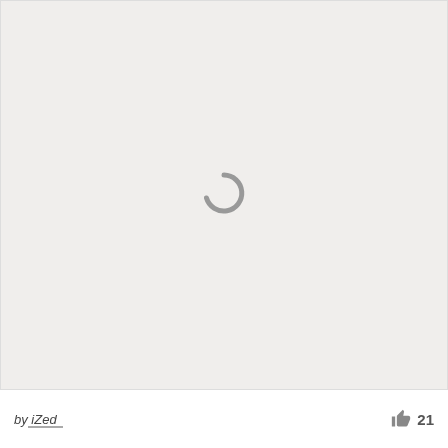[Figure (other): Large light gray content area with a spinning/loading indicator icon (dark gray partial circle arc) centered in the middle, indicating content is loading.]
by iZed   👍 21